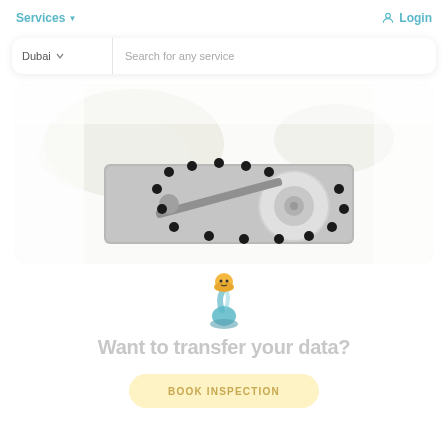Services  Login
Dubai  Search for any service
[Figure (photo): Close-up photo of a hard disk drive being handled with white-gloved hands on a white background. The exposed HDD platter and actuator arm are visible.]
[Figure (logo): Small genie/lamp mascot icon in blue and yellow]
Want to transfer your data?
BOOK INSPECTION